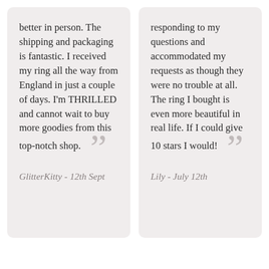better in person. The shipping and packaging is fantastic. I received my ring all the way from England in just a couple of days. I'm THRILLED and cannot wait to buy more goodies from this top-notch shop.
GlitterKitty - 12th Sept
responding to my questions and accommodated my requests as though they were no trouble at all. The ring I bought is even more beautiful in real life. If I could give 10 stars I would!
Lily - July 12th